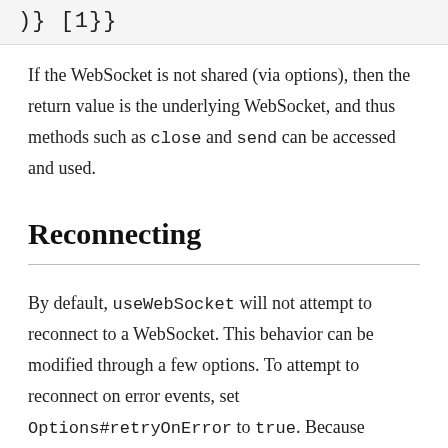)} [1}}
If the WebSocket is not shared (via options), then the return value is the underlying WebSocket, and thus methods such as close and send can be accessed and used.
Reconnecting
By default, useWebSocket will not attempt to reconnect to a WebSocket. This behavior can be modified through a few options. To attempt to reconnect on error events, set Options#retryOnError to true. Because CloseEvent s are less straight forward (e.g., was it triggered intentionally by the client or by something